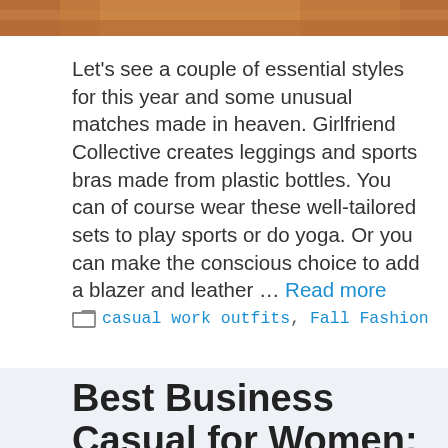[Figure (photo): Partial view of a person wearing yellow sportswear, cropped at the top of the page]
Let's see a couple of essential styles for this year and some unusual matches made in heaven. Girlfriend Collective creates leggings and sports bras made from plastic bottles. You can of course wear these well-tailored sets to play sports or do yoga. Or you can make the conscious choice to add a blazer and leather … Read more
casual work outfits, Fall Fashion
Best Business Casual for Women: Business Formal vs